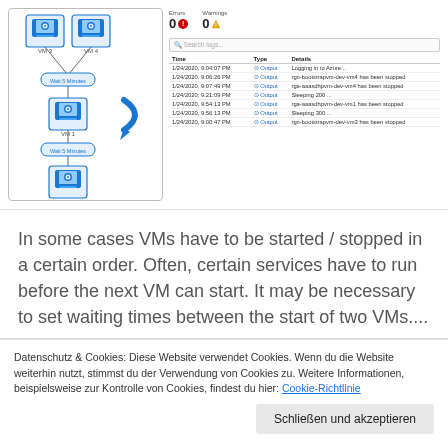[Figure (flowchart): Azure Automation runbook diagram showing VM3 and VM4 at top connected via Wait 5 Minutes to VM1, then Wait 5 Minutes to VM3, with a blue arrow pointing right]
| Time | Type | Details |
| --- | --- | --- |
| 1/24/2020, 9:04:07 PM | Output | Logging in to Azure... |
| 1/24/2020, 9:06:26 PM | Output | rgn-bootstrapvm-dev-vm4 has been stopped |
| 1/24/2020, 9:07:49 PM | Output | rga-aaasdhpvm-dev-vm4 has been stopped |
| 1/24/2020, 9:21:09 PM | Output | Sleeping 200 ... |
| 1/24/2020, 9:54:13 PM | Output | rga-aaasdhpvm-dev-vm1 has been stopped |
| 1/24/2020, 9:56:13 PM | Output | Sleeping 300 ... |
| 1/24/2020, 9:00:47 PM | Output | rgn-bootstrapvm-dev-vm3 has been stopped |
In some cases VMs have to be started / stopped in a certain order. Often, certain services have to run before the next VM can start. It may be necessary to set waiting times between the start of two VMs....
Datenschutz & Cookies: Diese Website verwendet Cookies. Wenn du die Website weiterhin nutzt, stimmst du der Verwendung von Cookies zu. Weitere Informationen, beispielsweise zur Kontrolle von Cookies, findest du hier: Cookie-Richtlinie
Schließen und akzeptieren